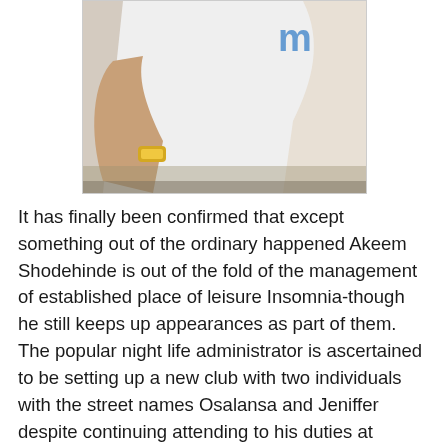[Figure (photo): Partial photo of a person in a white outfit with a gold watch, cropped at the top]
It has finally been confirmed that except something out of the ordinary happened Akeem Shodehinde is out of the fold of the management of established place of leisure Insomnia-though he still keeps up appearances as part of them.
The popular night life administrator is ascertained to be setting up a new club with two individuals with the street names Osalansa and Jeniffer despite continuing attending to his duties at Insomnia.
Contrary to earlier reports sources ascertained that the new partners will be paying off Mr Wale Oshin the owner of Cabana Lodge to take over the old club towers in other to achieve their aim.
Mr Oshin is utilising the Adeola Hopewell site of Club Towers to run Cabana Lodge.
He rented the facility from face of the place Prince Nazir Ado Ibidapo to his kingdom...